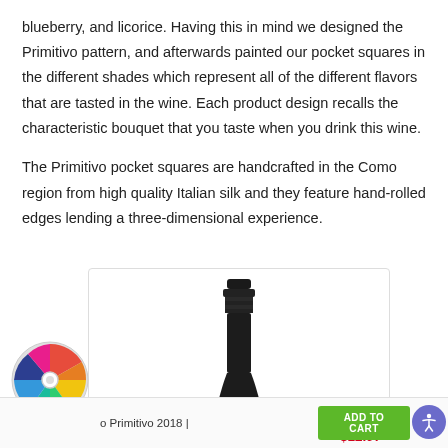blueberry, and licorice. Having this in mind we designed the Primitivo pattern, and afterwards painted our pocket squares in the different shades which represent all of the different flavors that are tasted in the wine. Each product design recalls the characteristic bouquet that you taste when you drink this wine.
The Primitivo pocket squares are handcrafted in the Como region from high quality Italian silk and they feature hand-rolled edges lending a three-dimensional experience.
[Figure (photo): Top portion of a dark wine bottle (neck and capsule), shown against a white background within a product card frame]
[Figure (illustration): Colorful prize spinner wheel widget in bottom-left corner with multiple colored segments (red, blue, yellow, green, etc.)]
o Primitivo 2018 |
$13.97
$12.97
ADD TO CA...